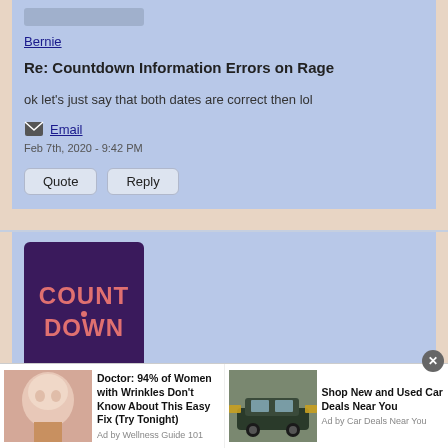[Figure (photo): Gray avatar placeholder rectangle at top of first post]
Bernie
Re: Countdown Information Errors on Rage
ok let's just say that both dates are correct then lol
Email
Feb 7th, 2020 - 9:42 PM
Quote   Reply
[Figure (logo): Purple square logo with COUNTDOWN text in pink/red bubbly font]
RetroTragic
[Figure (infographic): Advertisement bar at bottom with two ads: a face cream ad and a car deals ad]